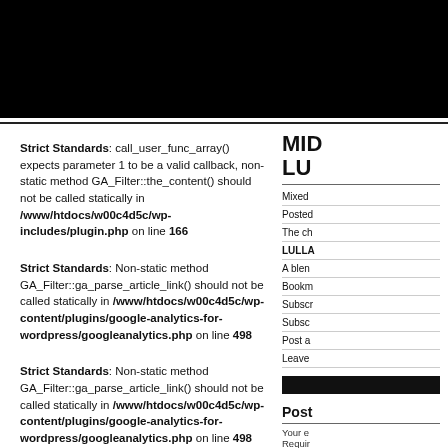Strict Standards: call_user_func_array() expects parameter 1 to be a valid callback, non-static method GA_Filter::the_content() should not be called statically in /www/htdocs/w00c4d5c/wp-includes/plugin.php on line 166
Strict Standards: Non-static method GA_Filter::ga_parse_article_link() should not be called statically in /www/htdocs/w00c4d5c/wp-content/plugins/google-analytics-for-wordpress/googleanalytics.php on line 498
Strict Standards: Non-static method GA_Filter::ga_parse_article_link() should not be called statically in /www/htdocs/w00c4d5c/wp-content/plugins/google-analytics-for-wordpress/googleanalytics.php on line 498
Strict Standards: Non-static method GA_Filter::ga_parse_link() should not be called statically in /www/htdocs/w00c4d5c/wp-content/plugins/google-analytics-for-wordpress/googleanalytics.php on line 488
Strict Standards: Non-static method GA_Filter::ga_get_domain()
MID LULL
Mixed
Posted
The ch
LULL
A blen
Bookm
Subscr
Subsc
Post a
Leave
Post
Your e Required
Näme